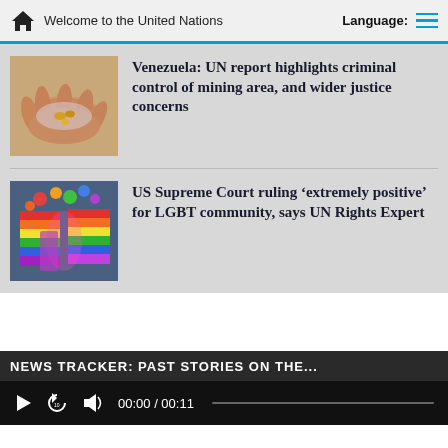Welcome to the United Nations
Venezuela: UN report highlights criminal control of mining area, and wider justice concerns
[Figure (photo): Hand holding small gold nuggets in plastic wrap]
US Supreme Court ruling ‘extremely positive’ for LGBT community, says UN Rights Expert
[Figure (photo): Rainbow pride flags at an outdoor event]
NEWS TRACKER: PAST STORIES ON THE...